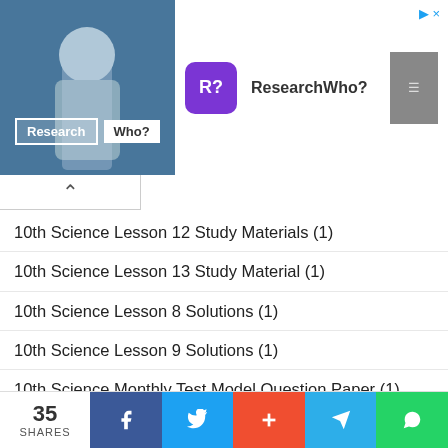[Figure (screenshot): Advertisement banner for ResearchWho? app showing a researcher image on the left, R? purple icon, text 'ResearchWho?' and an install button on the right]
10th Science Lesson 12 Study Materials (1)
10th Science Lesson 13 Study Material (1)
10th Science Lesson 8 Solutions (1)
10th Science Lesson 9 Solutions (1)
10th Science Monthly Test Model Question Paper (1)
10th Science Public Exam 2020 Model Question Papers (1)
10th Science Public Exam 2020 Official Model Question Papers (1)
10th Science Quarterly Exam 2019 Model Question Papers (1)
35 SHARES — Facebook, Twitter, Plus, Telegram, WhatsApp